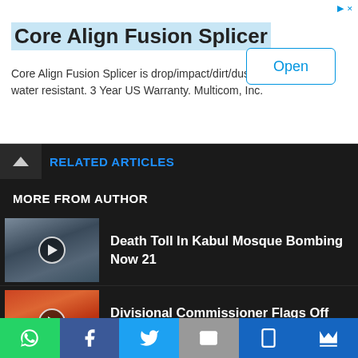[Figure (screenshot): Advertisement banner for Core Align Fusion Splicer with Open button]
Core Align Fusion Splicer
Core Align Fusion Splicer is drop/impact/dirt/dust/water resistant. 3 Year US Warranty. Multicom, Inc.
RELATED ARTICLES
MORE FROM AUTHOR
Death Toll In Kabul Mosque Bombing Now 21
Divisional Commissioner Flags Off Machail Yatra’s Charri
Pak Drone Spotted Near Border In Kathua: Search Ops Launched